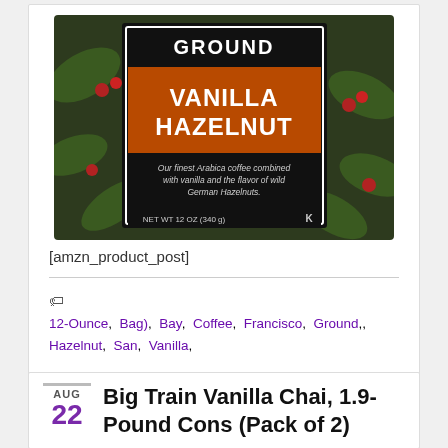[Figure (photo): A bag of Ground Vanilla Hazelnut coffee with black and orange label showing 'GROUND VANILLA HAZELNUT' text and product description. Net weight 12 oz (340g).]
[amzn_product_post]
12-Ounce, Bag), Bay, Coffee, Francisco, Ground,, Hazelnut, San, Vanilla,
Big Train Vanilla Chai, 1.9-Pound Cons (Pack of 2)